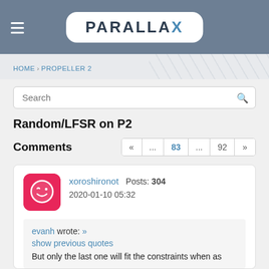[Figure (logo): Parallax logo on steel-blue header with hamburger menu icon]
HOME › PROPELLER 2
Search
Random/LFSR on P2
Comments
« ... 83 ... 92 »
xoroshironot   Posts: 304
2020-01-10 05:32
evanh wrote: »
show previous quotes
But only the last one will fit the constraints when as